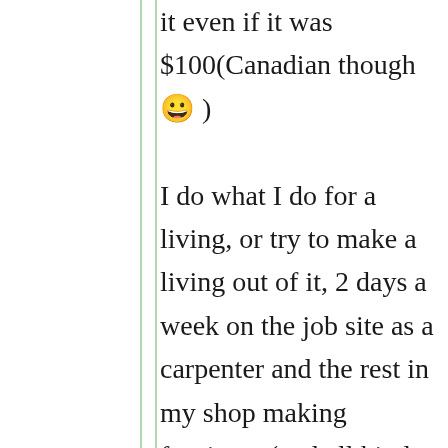it even if it was $100(Canadian though 😀 ) I do what I do for a living, or try to make a living out of it, 2 days a week on the job site as a carpenter and the rest in my shop making furnitures(and all kind of stuff using wood!! ) on the job site I work and worked with guys that think there is only one way to do things and